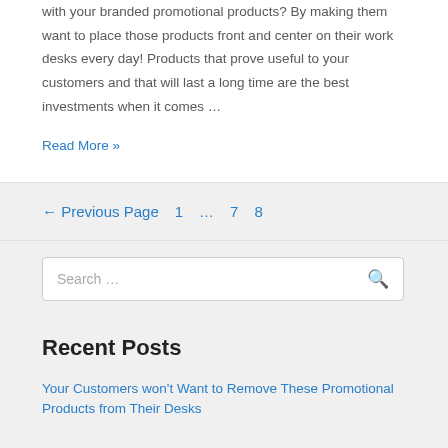with your branded promotional products? By making them want to place those products front and center on their work desks every day! Products that prove useful to your customers and that will last a long time are the best investments when it comes …
Read More »
← Previous Page   1   …   7   8
Search …
Recent Posts
Your Customers won't Want to Remove These Promotional Products from Their Desks